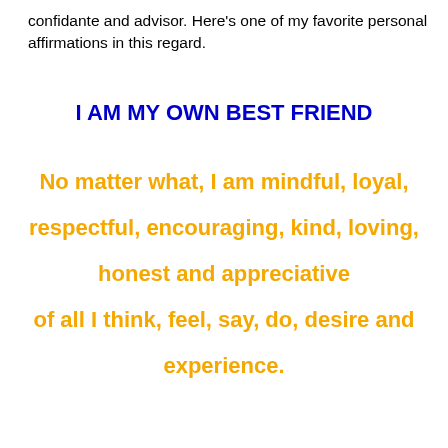confidante and advisor. Here's one of my favorite personal affirmations in this regard.
I AM MY OWN BEST FRIEND
No matter what, I am mindful, loyal, respectful, encouraging, kind, loving, honest and appreciative of all I think, feel, say, do, desire and experience.